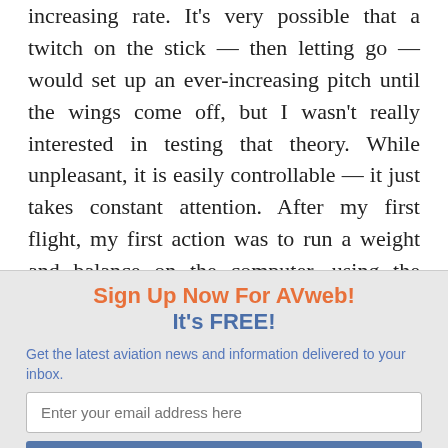increasing rate. It's very possible that a twitch on the stick — then letting go — would set up an ever-increasing pitch until the wings come off, but I wasn't really interested in testing that theory. While unpleasant, it is easily controllable — it just takes constant attention. After my first flight, my first action was to run a weight and balance on the computer, using the weight data from the last weighing. But much to my surprise it all checks out, and it's within limits, even with the water behind the pilot. But I want a recount, so I'm pushing
Sign Up Now For AVweb! It's FREE!
Get the latest aviation news and information delivered to your inbox.